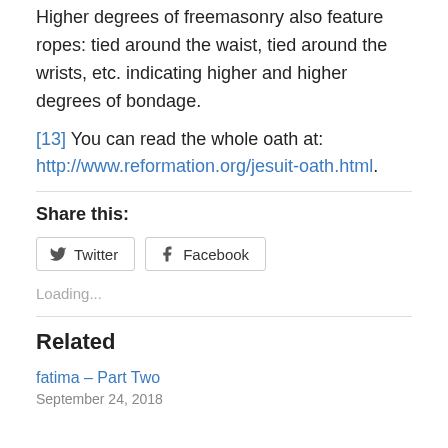Higher degrees of freemasonry also feature ropes: tied around the waist, tied around the wrists, etc. indicating higher and higher degrees of bondage.
[13] You can read the whole oath at: http://www.reformation.org/jesuit-oath.html.
Share this:
Loading...
Related
fatima – Part Two
September 24, 2018